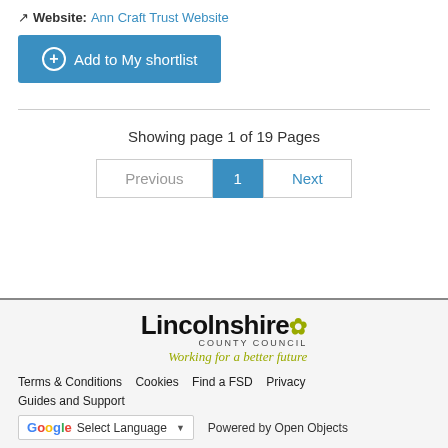Website: Ann Craft Trust Website
Add to My shortlist
Showing page 1 of 19 Pages
Previous  1  Next
[Figure (logo): Lincolnshire County Council logo with tagline 'Working for a better future']
Terms & Conditions  Cookies  Find a FSD  Privacy  Guides and Support  [Google] Select Language  Powered by Open Objects